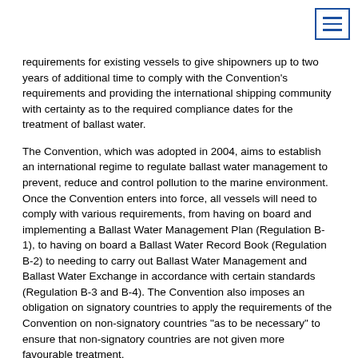[Figure (other): Document/menu icon in top right corner with three horizontal lines inside a rectangle outline]
requirements for existing vessels to give shipowners up to two years of additional time to comply with the Convention's requirements and providing the international shipping community with certainty as to the required compliance dates for the treatment of ballast water.
The Convention, which was adopted in 2004, aims to establish an international regime to regulate ballast water management to prevent, reduce and control pollution to the marine environment. Once the Convention enters into force, all vessels will need to comply with various requirements, from having on board and implementing a Ballast Water Management Plan (Regulation B-1), to having on board a Ballast Water Record Book (Regulation B-2) to needing to carry out Ballast Water Management and Ballast Water Exchange in accordance with certain standards (Regulation B-3 and B-4). The Convention also imposes an obligation on signatory countries to apply the requirements of the Convention on non-signatory countries "as to be necessary" to ensure that non-signatory countries are not given more favourable treatment.
Under the Convention, all relevant vessels are required from, 8 September 2017 onwards, to carry out ballast water exchange at least 200 nautical miles from the nearest land and in water at least 200 meters in depth, if possible. If this is not possible, the ballast water exchange must take place as far as possible from the nearest land and, in all cases, at least 50 nautical miles from the nearest land and in water of at least 200 meters in depth (Regulation B-4 and Standard D-1). This regime is only designed to be a temporary solution and it is envisaged